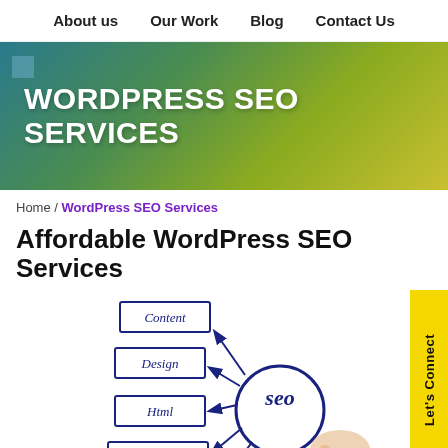About us   Our Work   Blog   Contact Us
WORDPRESS SEO SERVICES
Home / WordPress SEO Services
Affordable WordPress SEO Services
[Figure (illustration): Hand-drawn SEO diagram showing a hand holding a marker drawing a circle labeled 'seo' with arrows pointing to boxes labeled: Content, Design, Html, Keywords, Backlinks]
Let's Connect
Privacy · Terms